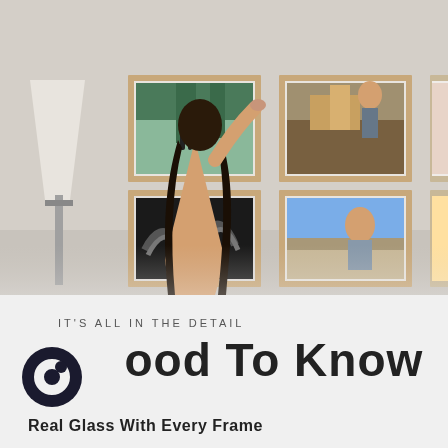[Figure (photo): A woman with long dark hair reaching up to hang framed photos on a white wall. Several framed photographs are already mounted on the wall, with a white lamp visible on the left side of the image.]
IT'S ALL IN THE DETAIL
Good To Know
Real Glass With Every Frame